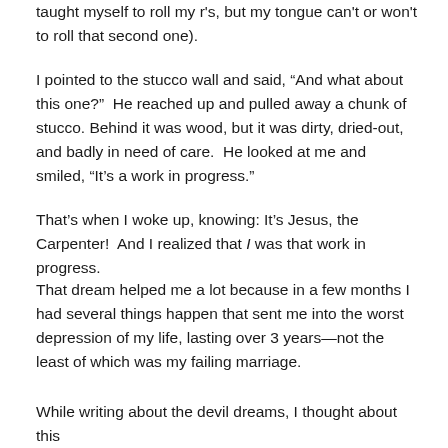taught myself to roll my r's, but my tongue can't or won't to roll that second one).
I pointed to the stucco wall and said, “And what about this one?”  He reached up and pulled away a chunk of stucco.  Behind it was wood, but it was dirty, dried-out, and badly in need of care.  He looked at me and smiled, “It’s a work in progress.”
That’s when I woke up, knowing: It’s Jesus, the Carpenter!  And I realized that I was that work in progress.
That dream helped me a lot because in a few months I had several things happen that sent me into the worst depression of my life, lasting over 3 years—not the least of which was my failing marriage.
While writing about the devil dreams, I thought about this